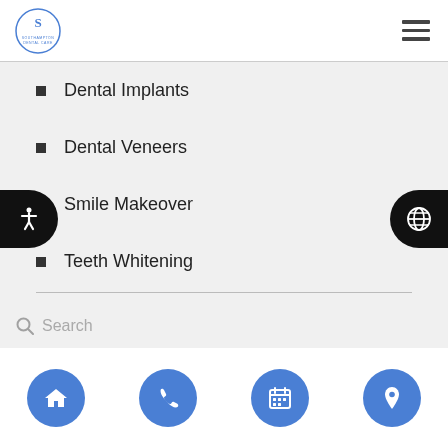Southampton Dental Care logo and navigation menu
Dental Implants
Dental Veneers
Smile Makeover
Teeth Whitening
Cosmetic Dentist
Dental Cosmetics
Find a Dentist in Benicia
Navigation footer with home, phone, calendar, and location buttons